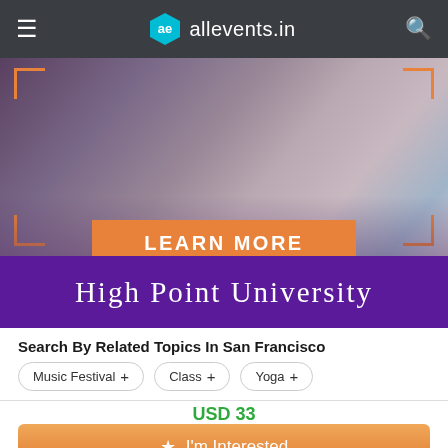allevents.in
[Figure (photo): Banner image showing people at a networking/business event with orange corner brackets and a LEARN MORE button overlay, below which is a purple band reading HIGH POINT UNIVERSITY]
Search By Related Topics In San Francisco
Music Festival +
Class +
Yoga +
USD 33
I'm Interested